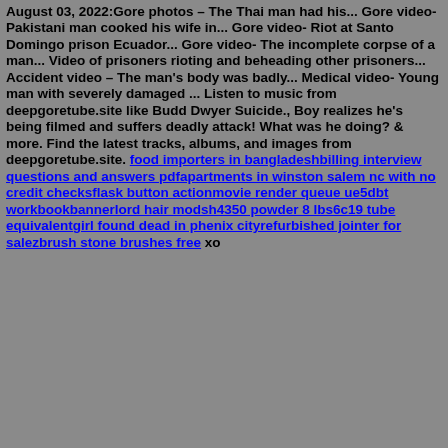August 03, 2022:Gore photos – The Thai man had his... Gore video- Pakistani man cooked his wife in... Gore video- Riot at Santo Domingo prison Ecuador... Gore video- The incomplete corpse of a man... Video of prisoners rioting and beheading other prisoners... Accident video – The man's body was badly... Medical video- Young man with severely damaged ... Listen to music from deepgoretube.site like Budd Dwyer Suicide., Boy realizes he's being filmed and suffers deadly attack! What was he doing? & more. Find the latest tracks, albums, and images from deepgoretube.site. food importers in bangladeshbilling interview questions and answers pdfapartments in winston salem nc with no credit checksflask button actionmovie render queue ue5dbt workbookbannerlord hair modsh4350 powder 8 lbs6c19 tube equivalentgirl found dead in phenix cityrefurbished jointer for salezbrush stone brushes free xo